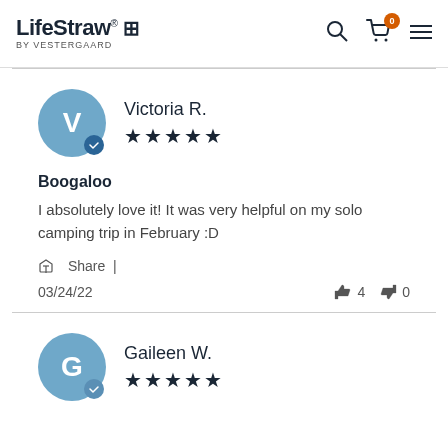LifeStraw® by VESTERGAARD
Victoria R. ★★★★★
Boogaloo
I absolutely love it! It was very helpful on my solo camping trip in February :D
Share
03/24/22   👍 4   👎 0
Gaileen W. ★★★★★